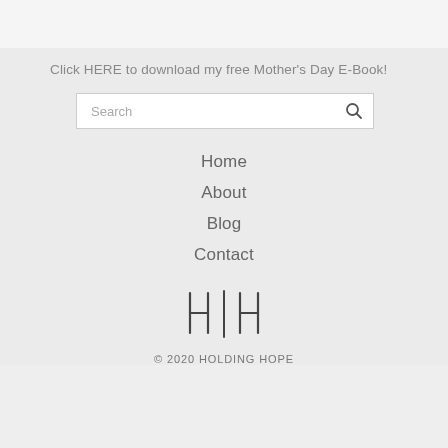Click HERE to download my free Mother's Day E-Book!
[Figure (other): Search box with magnifying glass icon]
Home
About
Blog
Contact
[Figure (logo): H|H logo mark for Holding Hope]
© 2020 HOLDING HOPE